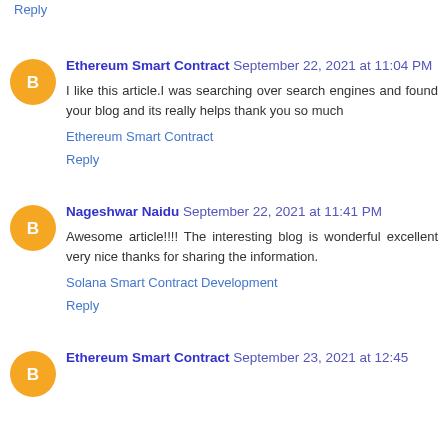Reply
Ethereum Smart Contract September 22, 2021 at 11:04 PM
I like this article.I was searching over search engines and found your blog and its really helps thank you so much
Ethereum Smart Contract
Reply
Nageshwar Naidu September 22, 2021 at 11:41 PM
Awesome article!!!! The interesting blog is wonderful excellent very nice thanks for sharing the information.
Solana Smart Contract Development
Reply
Ethereum Smart Contract September 23, 2021 at 12:45